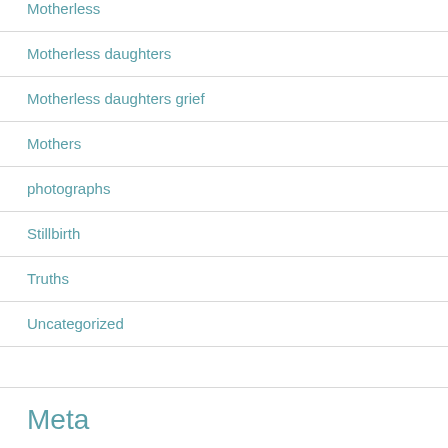Motherless
Motherless daughters
Motherless daughters grief
Mothers
photographs
Stillbirth
Truths
Uncategorized
Meta